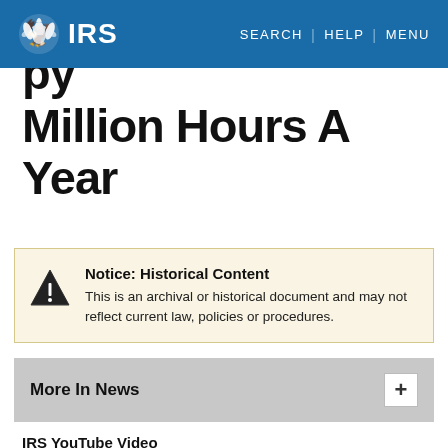IRS | SEARCH | HELP | MENU
Million Hours A Year
Notice: Historical Content
This is an archival or historical document and may not reflect current law, policies or procedures.
More In News
IRS YouTube Video